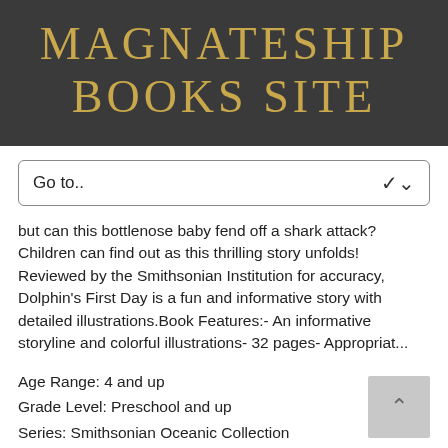MAGNATESHIP BOOKS SITE
Go to..
but can this bottlenose baby fend off a shark attack? Children can find out as this thrilling story unfolds! Reviewed by the Smithsonian Institution for accuracy, Dolphin's First Day is a fun and informative story with detailed illustrations.Book Features:- An informative storyline and colorful illustrations- 32 pages- Appropriat...
Age Range: 4 and up
Grade Level: Preschool and up
Series: Smithsonian Oceanic Collection
Hardcover::::
Publisher: Soundprints (April 1, 2009)
Language: English
ISBN-10: 1592496660